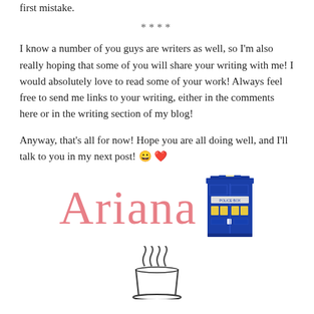first mistake.
****
I know a number of you guys are writers as well, so I'm also really hoping that some of you will share your writing with me! I would absolutely love to read some of your work! Always feel free to send me links to your writing, either in the comments here or in the writing section of my blog!
Anyway, that's all for now! Hope you are all doing well, and I'll talk to you in my next post! 😀 ❤
[Figure (illustration): Cursive pink signature reading 'Ariana' alongside a blue TARDIS police box illustration and a steaming coffee cup illustration at the bottom]